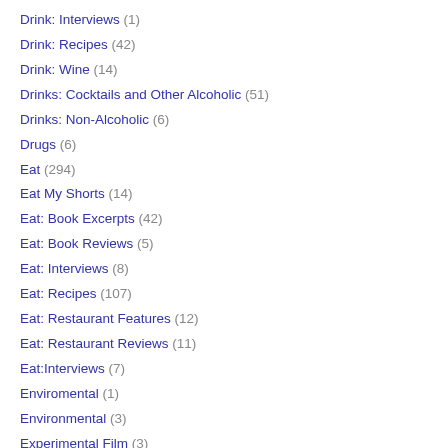Drink: Interviews (1)
Drink: Recipes (42)
Drink: Wine (14)
Drinks: Cocktails and Other Alcoholic (51)
Drinks: Non-Alcoholic (6)
Drugs (6)
Eat (294)
Eat My Shorts (14)
Eat: Book Excerpts (42)
Eat: Book Reviews (5)
Eat: Interviews (8)
Eat: Recipes (107)
Eat: Restaurant Features (12)
Eat: Restaurant Reviews (11)
Eat:Interviews (7)
Enviromental (1)
Environmental (3)
Experimental Film (3)
Experimental Music (3)
Follini (2)